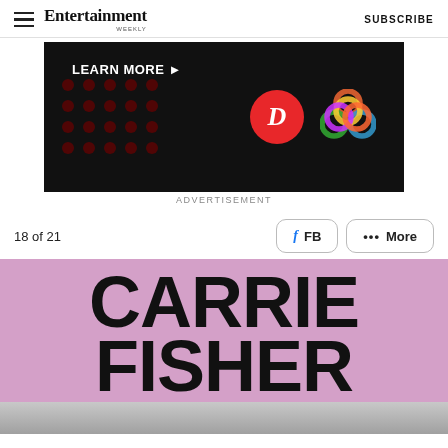Entertainment Weekly — SUBSCRIBE
[Figure (infographic): Dark advertisement banner with text LEARN MORE and logos including a red D circle and multicolored knot logo]
ADVERTISEMENT
18 of 21
[Figure (other): Social share buttons: FB and ... More]
CARRIE FISHER
[Figure (photo): Black and white photo strip at bottom of page]